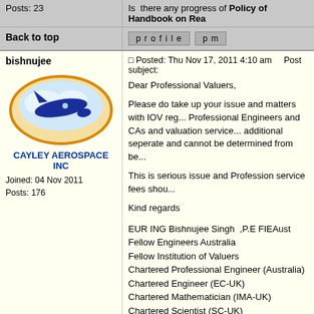Posts: 23
Is there any progress of Policy of Handbook on Rea...
Back to top
profile   pm
bishnujee
Posted: Thu Nov 17, 2011 4:10 am    Post subject:
[Figure (logo): Cayley Aerospace Inc logo with blue airplane and text]
Joined: 04 Nov 2011
Posts: 176
Dear Professional Valuers,

Please do take up your issue and matters with IOV reg... Professional Engineers and CAs and valuation service... additional seperate and cannot be determined from be...

This is serious issue and Profession service fees shou...

Kind regards
EUR ING Bishnujee Singh ,P.E FIEAust
Fellow Engineers Australia
Fellow Institution of Valuers
Chartered Professional Engineer (Australia)
Chartered Engineer (EC-UK)
Chartered Mathematician (IMA-UK)
Chartered Scientist (SC-UK)
Chartered Physicist (IOP-UK)
APEC Engineer,Int.P.E (Australia)
Associate Fellow CASI(Canada)
APPROVER VALUER